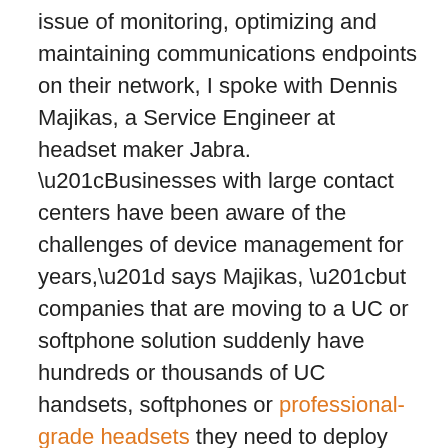issue of monitoring, optimizing and maintaining communications endpoints on their network, I spoke with Dennis Majikas, a Service Engineer at headset maker Jabra.  “Businesses with large contact centers have been aware of the challenges of device management for years,” says Majikas, “but companies that are moving to a UC or softphone solution suddenly have hundreds or thousands of UC handsets, softphones or professional-grade headsets they need to deploy and maintain.”
Doing so can be a major challenge for businesses without a management software platform.  For example, if a new firmware version or device driver for their preferred headsets is released, without a way of remotely updating those devices, IT would need to spend many nights and weekends manually going from